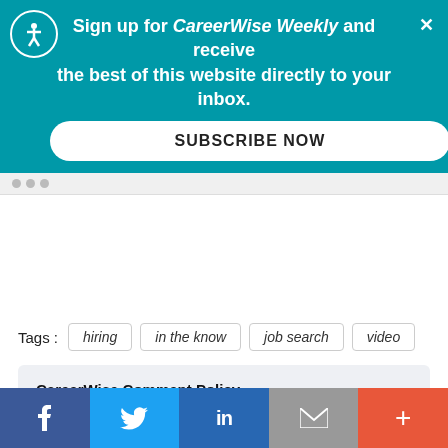[Figure (screenshot): Teal subscription banner for CareerWise Weekly newsletter with accessibility icon, close button, subscribe now button, browser chrome, tags section with hiring/in the know/job search/video, CareerWise Comment Policy box, and social share bar at bottom]
Sign up for CareerWise Weekly and receive the best of this website directly to your inbox.
SUBSCRIBE NOW
Tags : hiring  in the know  job search  video
CareerWise Comment Policy
Please read our Comment Policy before commenting.
f  Twitter  in  Email  +